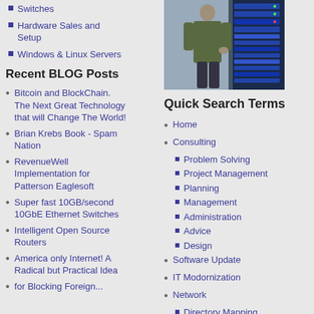Switches
Hardware Sales and Setup
Windows & Linux Servers
[Figure (photo): Photo of a person standing next to a server rack]
Recent BLOG Posts
Bitcoin and BlockChain. The Next Great Technology that will Change The World!
Brian Krebs Book - Spam Nation
RevenueWell Implementation for Patterson Eaglesoft
Super fast 10GB/second 10GbE Ethernet Switches
Intelligent Open Source Routers
America only Internet! A Radical but Practical Idea
Quick Search Terms
Home
Consulting
Problem Solving
Project Management
Planning
Management
Administration
Advice
Design
Software Update
IT Modornization
Network
Directory Mapping